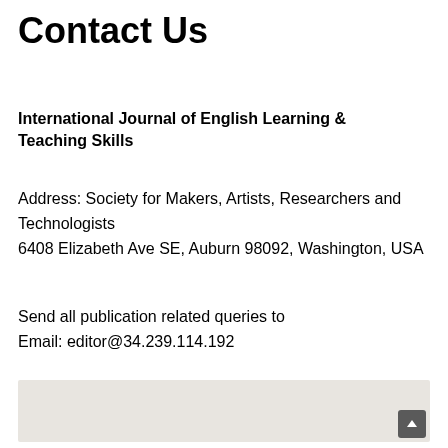Contact Us
International Journal of English Learning & Teaching Skills
Address: Society for Makers, Artists, Researchers and Technologists
6408 Elizabeth Ave SE, Auburn 98092, Washington, USA
Send all publication related queries to
Email: editor@34.239.114.192
[Figure (map): Embedded map placeholder showing a light grey map area with a scroll-to-top button in the bottom right corner.]